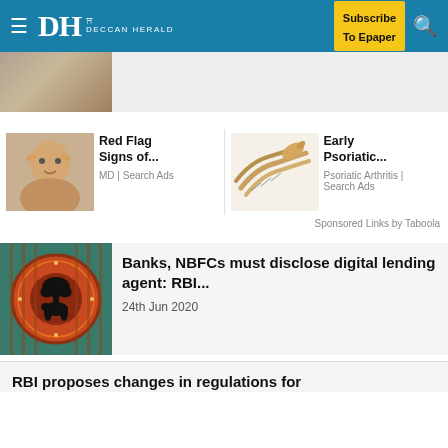DH DECCAN HERALD | Subscribe To Epaper
[Figure (photo): Partial image of a person handling currency notes]
[Figure (photo): Woman with hands near eyes - Red Flag Signs of...]
Red Flag Signs of...
MD | Search Ads
[Figure (illustration): Illustration of hands/scratching - Early Psoriatic...]
Early Psoriatic...
Psoriatic Arthritis | Search Ads
Sponsored Links by Taboola
[Figure (photo): Reserve Bank of India seal/logo]
Banks, NBFCs must disclose digital lending agent: RBI...
24th Jun 2020
RBI proposes changes in regulations for